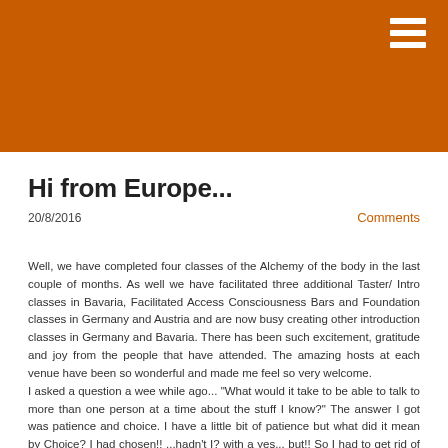[Figure (other): Orange/burnt-orange header banner with a white hamburger menu icon in the top-right corner]
Hi from Europe...
20/8/2016
Comments
Well, we have completed four classes of the Alchemy of the body in the last couple of months. As well we have facilitated three additional Taster/ Intro classes in Bavaria, Facilitated Access Consciousness Bars and Foundation classes in Germany and Austria and are now busy creating other introduction classes in Germany and Bavaria. There has been such excitement, gratitude and joy from the people that have attended. The amazing hosts at each venue have been so wonderful and made me feel so very welcome.
I asked a question a wee while ago... "What would it take to be able to talk to more than one person at a time about the stuff I know?" The answer I got was patience and choice. I have a little bit of patience but what did it mean by Choice? I had chosen!! ...hadn't I? with a yes... but!! So I had to get rid of the